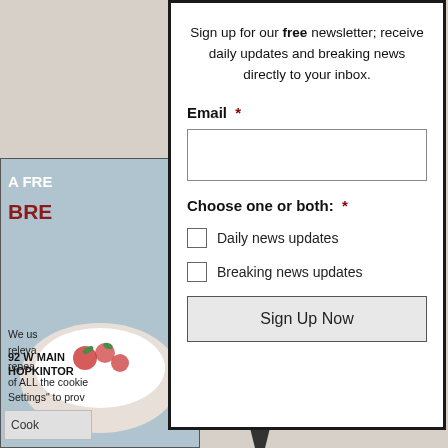[Figure (screenshot): Background webpage with book image showing 'A FREE BREAKFAST' cover and cookie consent text]
Sign up for our free newsletter; receive daily updates and breaking news directly to your inbox.
Email *
Choose one or both: *
Daily news updates
Breaking news updates
Sign Up Now
We us releva repea of ALL the cookie Settings" to prov
Cook